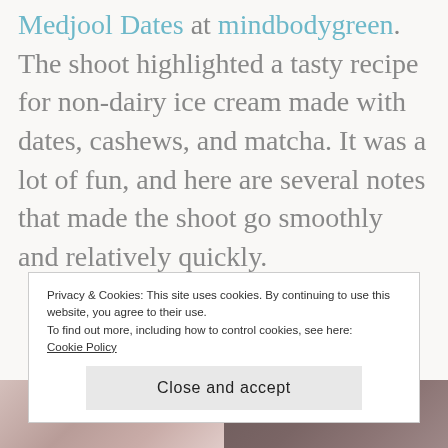Medjool Dates at mindbodygreen. The shoot highlighted a tasty recipe for non-dairy ice cream made with dates, cashews, and matcha. It was a lot of fun, and here are several notes that made the shoot go smoothly and relatively quickly.
Privacy & Cookies: This site uses cookies. By continuing to use this website, you agree to their use.
To find out more, including how to control cookies, see here:
Cookie Policy
Close and accept
[Figure (photo): Two side-by-side food photos at the bottom of the page, showing ingredients or dishes related to the recipe]